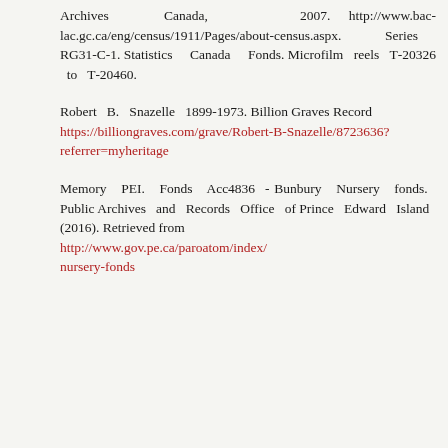Archives Canada, 2007. http://www.bac-lac.gc.ca/eng/census/1911/Pages/about-census.aspx. Series RG31-C-1. Statistics Canada Fonds. Microfilm reels T-20326 to T-20460.
Robert B. Snazelle 1899-1973. Billion Graves Record https://billiongraves.com/grave/Robert-B-Snazelle/8723636?referrer=myheritage
Memory PEI. Fonds Acc4836 - Bunbury Nursery fonds. Public Archives and Records Office of Prince Edward Island (2016). Retrieved from http://www.gov.pe.ca/paroatom/index/nursery-fonds